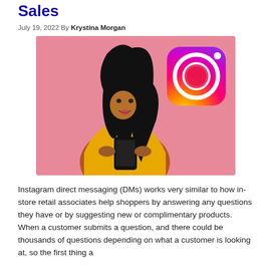Sales
July 19, 2022 By Krystina Morgan
[Figure (photo): Young woman in yellow tank top holding a smartphone, with the Instagram logo (gradient camera icon) displayed on a pink background beside her]
Instagram direct messaging (DMs) works very similar to how in-store retail associates help shoppers by answering any questions they have or by suggesting new or complimentary products. When a customer submits a question, and there could be thousands of questions depending on what a customer is looking at, so the first thing a